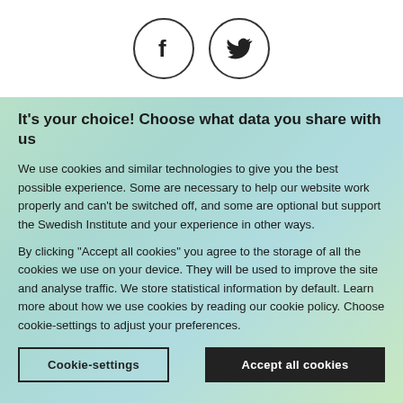[Figure (illustration): Two social media icons in circles: Facebook (f) and Twitter (bird) on white background]
It's your choice! Choose what data you share with us
We use cookies and similar technologies to give you the best possible experience. Some are necessary to help our website work properly and can't be switched off, and some are optional but support the Swedish Institute and your experience in other ways.
By clicking “Accept all cookies” you agree to the storage of all the cookies we use on your device. They will be used to improve the site and analyse traffic. We store statistical information by default. Learn more about how we use cookies by reading our cookie policy. Choose cookie-settings to adjust your preferences.
Cookie-settings
Accept all cookies